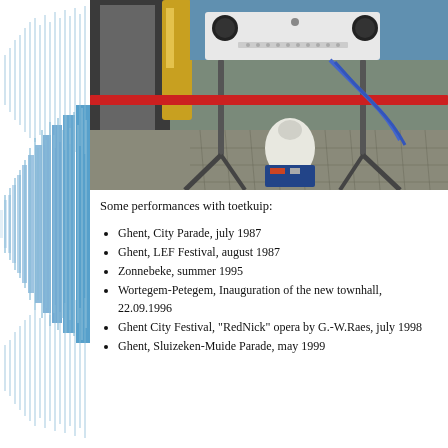[Figure (photo): Photograph of the toetkuip instrument/device on a cart outdoors on a cobblestone street. The device has speakers and controls on top, with metal frame and a white horn-shaped element underneath. A red bar runs horizontally in the middle. Blue tubes and electronic components are visible.]
Some performances with toetkuip:
Ghent, City Parade, july 1987
Ghent, LEF Festival, august 1987
Zonnebeke, summer 1995
Wortegem-Petegem, Inauguration of the new townhall, 22.09.1996
Ghent City Festival, "RedNick" opera by G.-W.Raes, july 1998
Ghent, Sluizeken-Muide Parade, may 1999